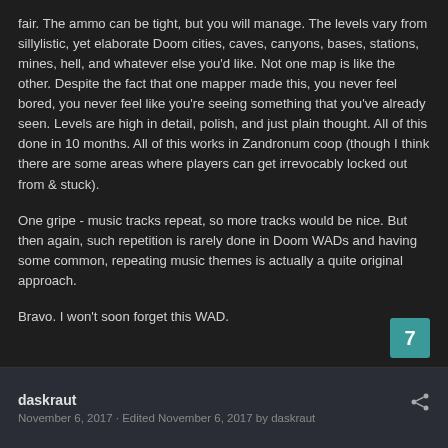fair. The ammo can be tight, but you will manage. The levels vary from sillylistic, yet elaborate Doom cities, caves, canyons, bases, stations, mines, hell, and whatever else you'd like. Not one map is like the other. Despite the fact that one mapper made this, you never feel bored, you never feel like you're seeing something that you've already seen. Levels are high in detail, polish, and just plain thought. All of this done in 10 months. All of this works in Zandronum coop (though I think there are some areas where players can get irrevocably locked out from & stuck).
One gripe - music tracks repeat, so more tracks would be nice. But then again, such repetition is rarely done in Doom WADs and having some common, repeating music themes is actually a quite original approach.
Bravo. I won't soon forget this WAD.
7
daskraut
November 6, 2017 · Edited November 6, 2017 by daskraut